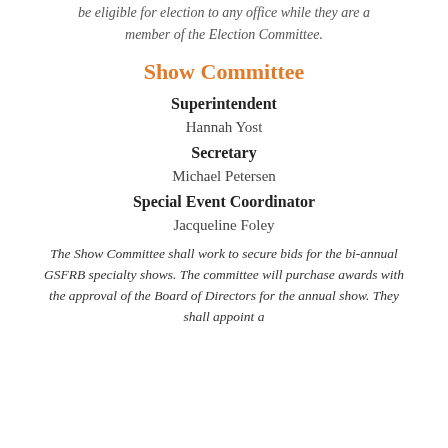be eligible for election to any office while they are a member of the Election Committee.
Show Committee
Superintendent
Hannah Yost
Secretary
Michael Petersen
Special Event Coordinator
Jacqueline Foley
The Show Committee shall work to secure bids for the bi-annual GSFRB specialty shows. The committee will purchase awards with the approval of the Board of Directors for the annual show. They shall appoint a